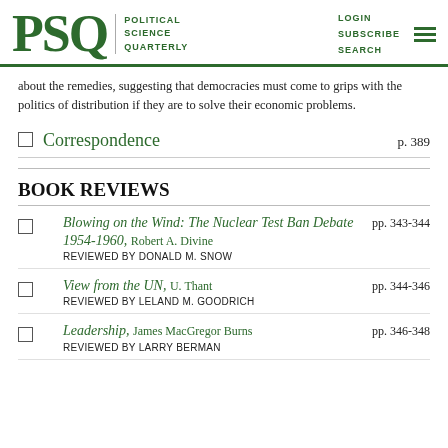PSQ POLITICAL SCIENCE QUARTERLY | LOGIN SUBSCRIBE SEARCH
about the remedies, suggesting that democracies must come to grips with the politics of distribution if they are to solve their economic problems.
Correspondence p. 389
BOOK REVIEWS
Blowing on the Wind: The Nuclear Test Ban Debate 1954-1960, Robert A. Divine — REVIEWED BY DONALD M. SNOW pp. 343-344
View from the UN, U. Thant — REVIEWED BY LELAND M. GOODRICH pp. 344-346
Leadership, James MacGregor Burns — REVIEWED BY LARRY BERMAN pp. 346-348